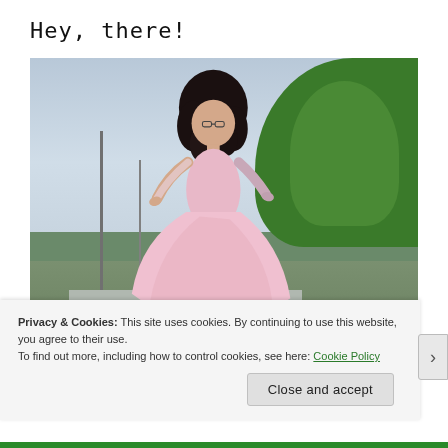Hey, there!
[Figure (photo): A woman with curly black hair wearing a flowing pink lace dress, posing outdoors with cloudy sky and green trees in the background. She appears to be mid-movement.]
Privacy & Cookies: This site uses cookies. By continuing to use this website, you agree to their use.
To find out more, including how to control cookies, see here: Cookie Policy
Close and accept